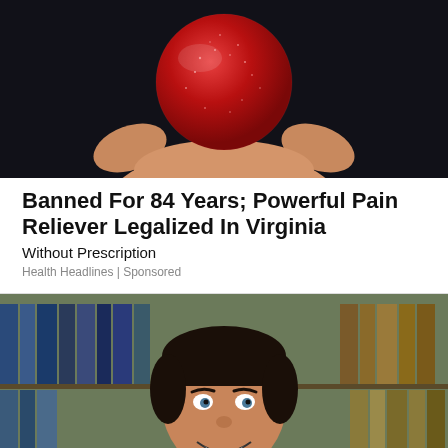[Figure (photo): A hand holding a red sugar-coated gummy candy/supplement against a dark background]
Banned For 84 Years; Powerful Pain Reliever Legalized In Virginia
Without Prescription
Health Headlines | Sponsored
[Figure (photo): A smiling man with dark hair in front of bookshelves with books]